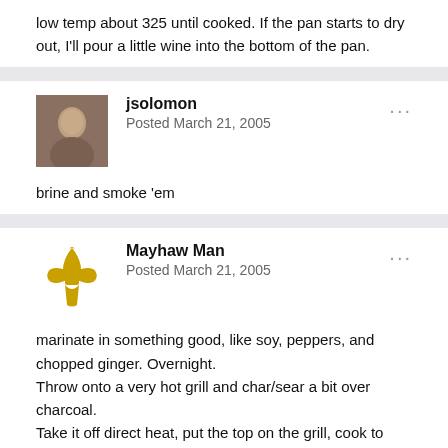low temp about 325 until cooked. If the pan starts to dry out, I'll pour a little wine into the bottom of the pan.
jsolomon
Posted March 21, 2005
brine and smoke 'em
Mayhaw Man
Posted March 21, 2005
marinate in something good, like soy, peppers, and chopped ginger. Overnight.
Throw onto a very hot grill and char/sear a bit over charcoal.
Take it off direct heat, put the top on the grill, cook to medium temp, rest, slice, eat.
Delicious. They don't take very long either. Make sure to use a thermometer and pull just before it gets to temp. It will go the